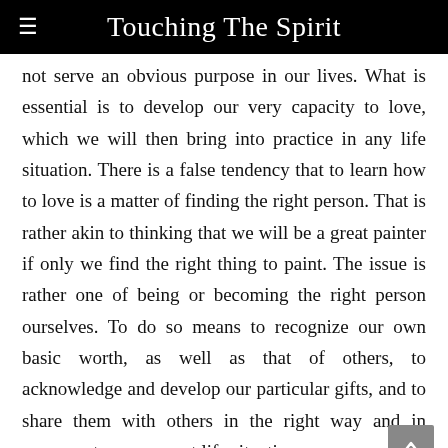Touching The Spirit
not serve an obvious purpose in our lives. What is essential is to develop our very capacity to love, which we will then bring into practice in any life situation. There is a false tendency that to learn how to love is a matter of finding the right person. That is rather akin to thinking that we will be a great painter if only we find the right thing to paint. The issue is rather one of being or becoming the right person ourselves. To do so means to recognize our own basic worth, as well as that of others, to acknowledge and develop our particular gifts, and to share them with others in the right way and in response to our current life situation.
May you begin or more fully recognize the gifts that